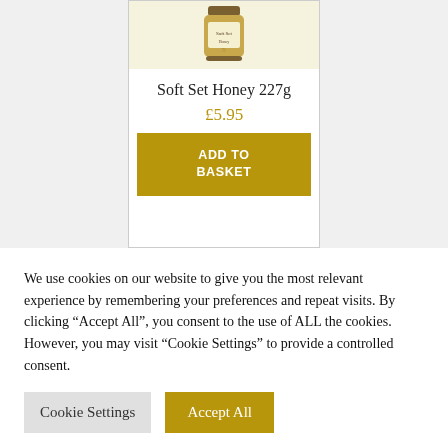[Figure (photo): Partial view of a honey jar product card with a jar image at the top]
Soft Set Honey 227g
£5.95
ADD TO BASKET
We use cookies on our website to give you the most relevant experience by remembering your preferences and repeat visits. By clicking "Accept All", you consent to the use of ALL the cookies. However, you may visit "Cookie Settings" to provide a controlled consent.
Cookie Settings
Accept All